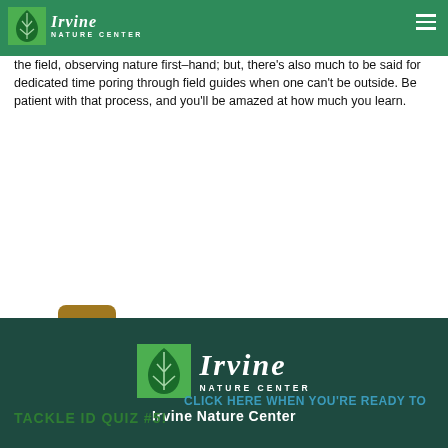Irvine Nature Center (logo and navigation)
species. In fact, one would have to know a great deal, covering a wide spectrum of the romantic natural history, in order to complete all of those ID's correctly. Of course one learns the most by patiently spending time in the field, observing nature first-hand; but, there's also much to be said for dedicated time poring through field guides when one can't be outside. Be patient with that process, and you'll be amazed at how much you learn.
[Figure (illustration): Cartoon illustration of a detective/spy character with a brown hat and binoculars, hiding behind green bushes]
CLICK HERE WHEN YOU'RE READY TO
TACKLE ID QUIZ #5!
Irvine Nature Center logo and name in dark teal footer